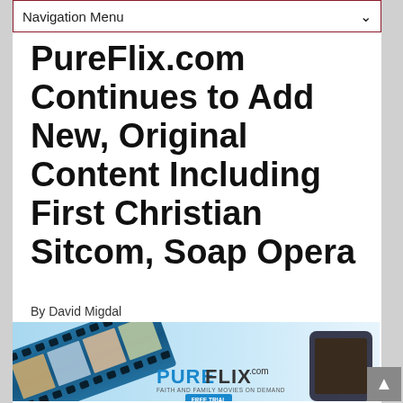Navigation Menu
PureFlix.com Continues to Add New, Original Content Including First Christian Sitcom, Soap Opera
By David Migdal
[Figure (photo): PureFlix.com advertisement banner showing a film strip with Christian movie scenes, 'PURE FLIX .com FAITH AND FAMILY MOVIES ON DEMAND FREE TRIAL' text]